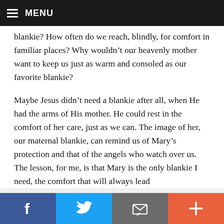MENU
blankie? How often do we reach, blindly, for comfort in familiar places? Why wouldn’t our heavenly mother want to keep us just as warm and consoled as our favorite blankie?
Maybe Jesus didn’t need a blankie after all, when He had the arms of His mother. He could rest in the comfort of her care, just as we can. The image of her, our maternal blankie, can remind us of Mary’s protection and that of the angels who watch over us. The lesson, for me, is that Mary is the only blankie I need, the comfort that will always lead